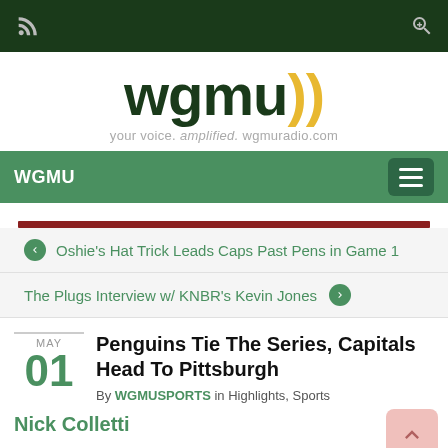WGMU - your voice. amplified. wgmuradio.com
[Figure (logo): WGMU radio logo with radio wave symbol in yellow, tagline: your voice. amplified. wgmuradio.com]
WGMU navigation bar
Oshie's Hat Trick Leads Caps Past Pens in Game 1
The Plugs Interview w/ KNBR's Kevin Jones
Penguins Tie The Series, Capitals Head To Pittsburgh
By WGMUSPORTS in Highlights, Sports
MAY 01
Nick Colletti